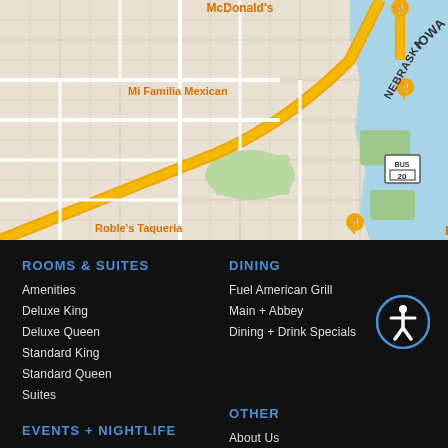[Figure (map): Google Maps partial view showing streets near Sioux City area with labels for McDonald's, Mi Familia Mexican, Roble's Taqueria, Siouxland Expo Center, and state labels IOWA, NEBRASKA. Yellow roads, water body on right, green areas visible.]
ROOMS & SUITES
Amenities
Deluxe King
Deluxe Queen
Standard King
Standard Queen
Suites
DINING
Fuel American Grill
Main + Abbey
Dining + Drink Specials
EVENTS + NIGHTLIFE
Calendar
Anthem
Battery Park
Event Policies/FAQ
OTHER
About Us
Careers
Vendors
Contact Us